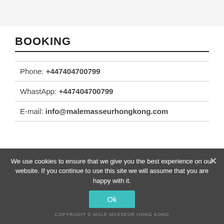BOOKING
Phone: +447404700799
WhastApp: +447404700799
E-mail: info@malemasseurhongkong.com
We use cookies to ensure that we give you the best experience on our website. If you continue to use this site we will assume that you are happy with it.
COPYRIGHT © MALE MASSEUR HONG KONG